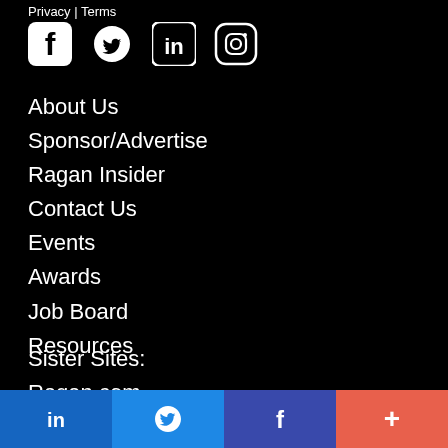Privacy | Terms
[Figure (logo): Social media icons: Facebook, Twitter, LinkedIn, Instagram]
About Us
Sponsor/Advertise
Ragan Insider
Contact Us
Events
Awards
Job Board
Resources
Sister Sites:
Ragan.com
LinkedIn | Twitter | Facebook | More